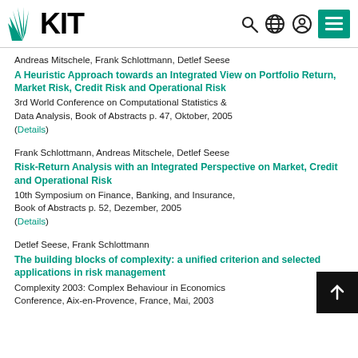KIT — Karlsruhe Institute of Technology
Andreas Mitschele, Frank Schlottmann, Detlef Seese
A Heuristic Approach towards an Integrated View on Portfolio Return, Market Risk, Credit Risk and Operational Risk
3rd World Conference on Computational Statistics & Data Analysis, Book of Abstracts p. 47, Oktober, 2005 (Details)
Frank Schlottmann, Andreas Mitschele, Detlef Seese
Risk-Return Analysis with an Integrated Perspective on Market, Credit and Operational Risk
10th Symposium on Finance, Banking, and Insurance, Book of Abstracts p. 52, Dezember, 2005 (Details)
Detlef Seese, Frank Schlottmann
The building blocks of complexity: a unified criterion and selected applications in risk management
Complexity 2003: Complex Behaviour in Economics Conference, Aix-en-Provence, France, Mai, 2003